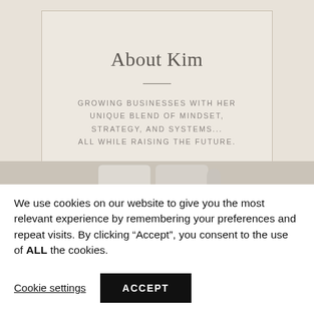About Kim
GROWING BUSINESSES WITH HER UNIQUE BLEND OF MINDSET, STRATEGY, AND SYSTEMS... ALL WHILE RAISING THE FUTURE.
[Figure (photo): Partial view of a white ceramic mug on a beige/neutral background]
We use cookies on our website to give you the most relevant experience by remembering your preferences and repeat visits. By clicking “Accept”, you consent to the use of ALL the cookies.
Cookie settings
ACCEPT